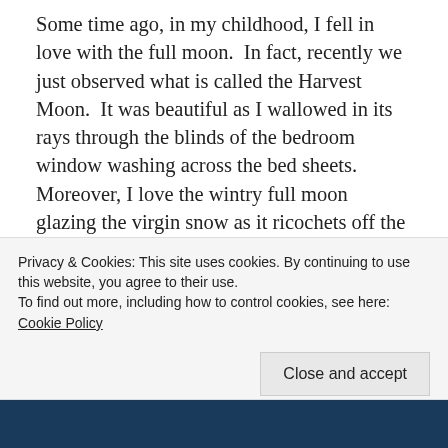Some time ago, in my childhood, I fell in love with the full moon.  In fact, recently we just observed what is called the Harvest Moon.  It was beautiful as I wallowed in its rays through the blinds of the bedroom window washing across the bed sheets.  Moreover, I love the wintry full moon glazing the virgin snow as it ricochets off the sparkling surface, lighting up every corner of the thick darkened wood.  All in all, it is the light from the full moon which brings the awe and wonder to the world of evening.  No manufactured light bulb has yet been able to come close to matching its tone.  Isn't it amazing what the reflective lunar surface can do with the sunbeams
Privacy & Cookies: This site uses cookies. By continuing to use this website, you agree to their use.
To find out more, including how to control cookies, see here: Cookie Policy
Close and accept
[Figure (photo): Blue-toned image at the bottom of the page, partially visible]